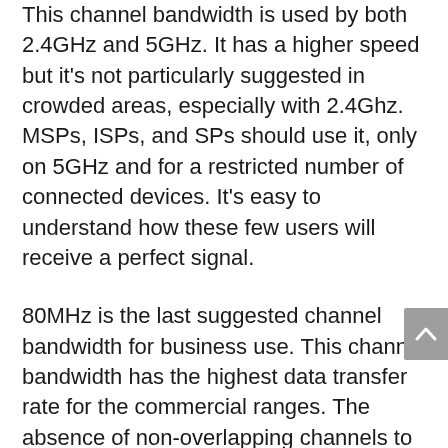This channel bandwidth is used by both 2.4GHz and 5GHz. It has a higher speed but it's not particularly suggested in crowded areas, especially with 2.4Ghz. MSPs, ISPs, and SPs should use it, only on 5GHz and for a restricted number of connected devices. It's easy to understand how these few users will receive a perfect signal.
80MHz is the last suggested channel bandwidth for business use. This channel bandwidth has the highest data transfer rate for the commercial ranges. The absence of non-overlapping channels to operate within makes high levels of congestion with high levels of traffic. 80GHz is the best channel for IT